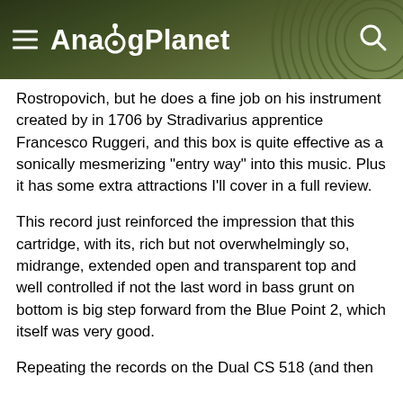AnalogPlanet
Rostropovich, but he does a fine job on his instrument created by in 1706 by Stradivarius apprentice Francesco Ruggeri, and this box is quite effective as a sonically mesmerizing “entry way” into this music. Plus it has some extra attractions I’ll cover in a full review.
This record just reinforced the impression that this cartridge, with its, rich but not overwhelmingly so, midrange, extended open and transparent top and well controlled if not the last word in bass grunt on bottom is big step forward from the Blue Point 2, which itself was very good.
Repeating the records on the Dual CS 518 (and then